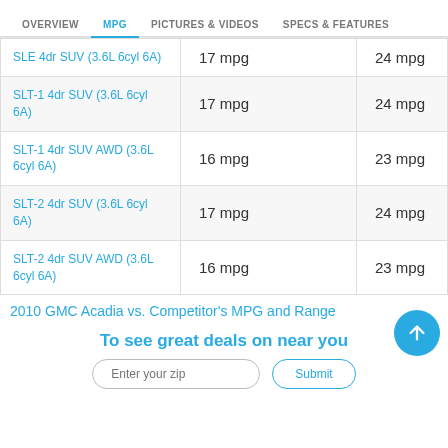OVERVIEW | MPG | PICTURES & VIDEOS | SPECS & FEATURES
|  | City MPG | Hwy MPG |
| --- | --- | --- |
| SLE 4dr SUV (3.6L 6cyl 6A) | 17 mpg | 24 mpg |
| SLT-1 4dr SUV (3.6L 6cyl 6A) | 17 mpg | 24 mpg |
| SLT-1 4dr SUV AWD (3.6L 6cyl 6A) | 16 mpg | 23 mpg |
| SLT-2 4dr SUV (3.6L 6cyl 6A) | 17 mpg | 24 mpg |
| SLT-2 4dr SUV AWD (3.6L 6cyl 6A) | 16 mpg | 23 mpg |
2010 GMC Acadia vs. Competitor's MPG and Range
To see great deals on near you